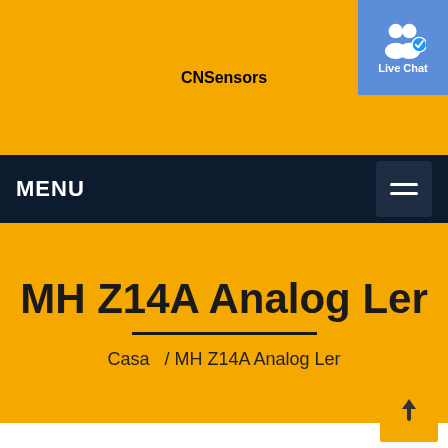CNSensors
[Figure (screenshot): Live Chat button with two people icon and blue background]
MENU
MH Z14A Analog Ler
Casa   / MH Z14A Analog Ler